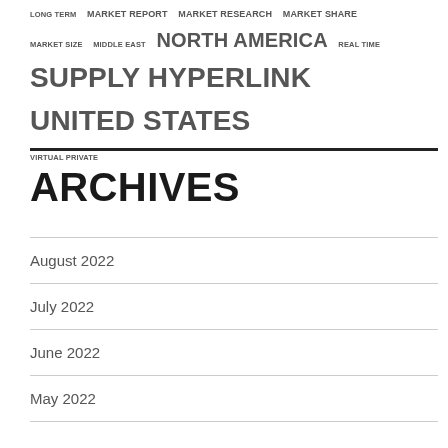LONG TERM  MARKET REPORT  MARKET RESEARCH  MARKET SHARE  MARKET SIZE  MIDDLE EAST  NORTH AMERICA  REAL TIME  SUPPLY HYPERLINK  UNITED STATES  VIRTUAL PRIVATE
ARCHIVES
August 2022
July 2022
June 2022
May 2022